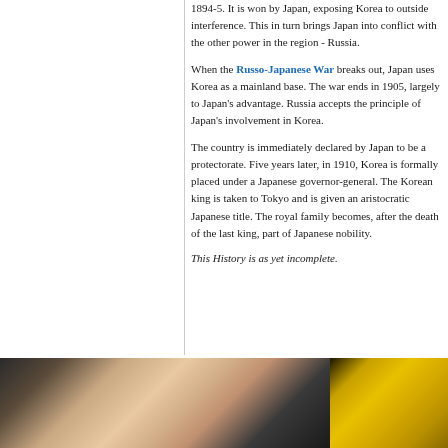1894-5. It is won by Japan, exposing Korea to outside interference. This in turn brings Japan into conflict with the other power in the region - Russia.
When the Russo-Japanese War breaks out, Japan uses Korea as a mainland base. The war ends in 1905, largely to Japan's advantage. Russia accepts the principle of Japan's involvement in Korea.
The country is immediately declared by Japan to be a protectorate. Five years later, in 1910, Korea is formally placed under a Japanese governor-general. The Korean king is taken to Tokyo and is given an aristocratic Japanese title. The royal family becomes, after the death of the last king, part of Japanese nobility.
This History is as yet incomplete.
[Figure (photo): Partial view of two images side by side: left shows a person's bare skin/torso against dark background; right shows yellow/golden spice powder or similar granular material]